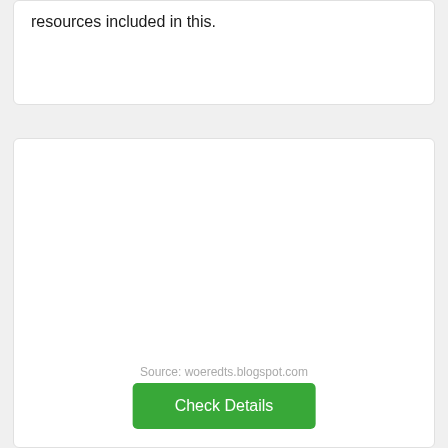resources included in this.
Source: woeredts.blogspot.com
Check Details